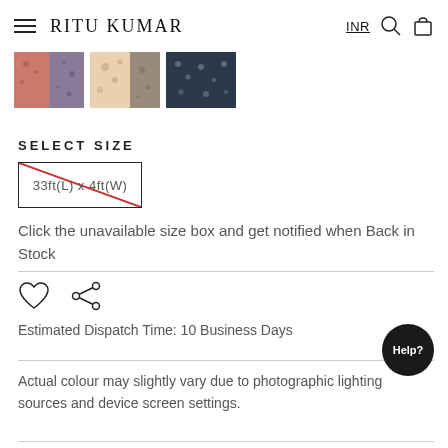RITU KUMAR  INR
[Figure (photo): Three fabric swatch thumbnails showing floral/printed patterns in pink/mauve, beige/brown, and dark navy colorways]
SELECT SIZE
[Figure (other): Size option box labeled '33ft(L) x 4ft(W)' with a red diagonal cross indicating unavailability]
Click the unavailable size box and get notified when Back in Stock
[Figure (other): Heart/wishlist icon and share icon]
Estimated Dispatch Time: 10 Business Days
Actual colour may slightly vary due to photographic lighting sources and device screen settings.